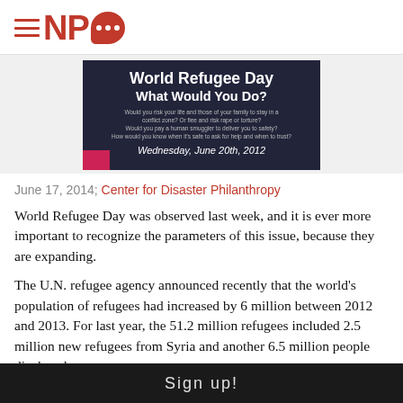NPQ
[Figure (photo): A dark banner sign reading 'World Refugee Day – What Would You Do?' with smaller text about conflict zones, and the date Wednesday, June 20th, 2012 at the bottom. A pink/red strip is visible at the bottom left.]
June 17, 2014; Center for Disaster Philanthropy
World Refugee Day was observed last week, and it is ever more important to recognize the parameters of this issue, because they are expanding.
The U.N. refugee agency announced recently that the world's population of refugees had increased by 6 million between 2012 and 2013. For last year, the 51.2 million refugees included 2.5 million new refugees from Syria and another 6.5 million people displaced
Sign up!